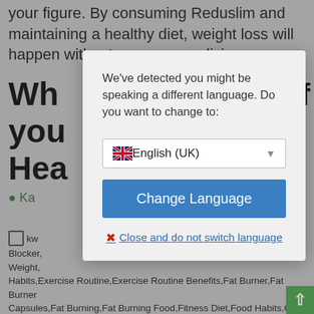your figure. By consuming Reduslim and maintaining a healthy diet, weight loss will happen without you even realizi
Wh if you Hea
Ka
kw b Blocker, oss,Diet Weight, Habits,Exercise Routine,Exercise Routine Benefits,Fat Burner,Fat Burner Capsules,Fat Burning,Fat Burning Food,Fitness Diet,Food Habits,Get Slim,Healthy Body,Healthy Diet,Healthy Diet Benefits,Healthy Eating,Healthy Food,Healthy Lifestyle,Healthy Lifestyle Benefits,Healthy Meal,Healthy Meal Benefits,Healthy Meal Plan,Healthy Nutrition,In Shape,Lose Weight,Lose Weight
[Figure (screenshot): Language change modal dialog with English (UK) dropdown option, Change Language button, and Close and do not switch language link]
We've detected you might be speaking a different language. Do you want to change to:
English (UK)
Change Language
Close and do not switch language